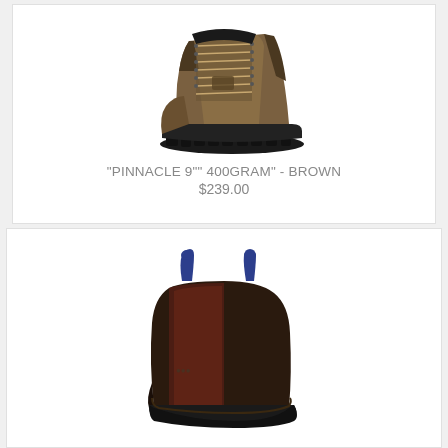[Figure (photo): Brown lace-up hiking boot, tall ankle height, rubber lugged sole, viewed from side angle]
"PINNACLE 9"" 400GRAM" - BROWN
$239.00
[Figure (photo): Dark brown leather Chelsea boot with blue pull tabs, elastic side gussets, low profile]